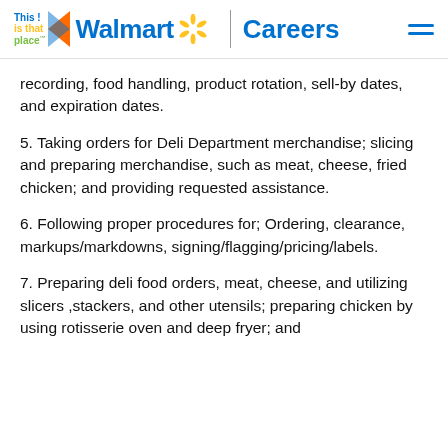This is that place | Walmart Careers
recording, food handling, product rotation, sell-by dates, and expiration dates.
5. Taking orders for Deli Department merchandise; slicing and preparing merchandise, such as meat, cheese, fried chicken; and providing requested assistance.
6. Following proper procedures for; Ordering, clearance, markups/markdowns, signing/flagging/pricing/labels.
7. Preparing deli food orders, meat, cheese, and utilizing slicers ,stackers, and other utensils; preparing chicken by using rotisserie oven and deep fryer; and